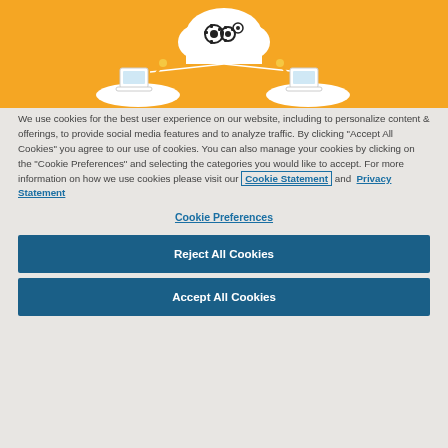[Figure (illustration): Yellow/orange background banner with a white cloud icon containing gear symbols in the center top, two white bowl/platform shapes on left and right each with laptop/document stacks and robotic arm-like elements, connected by lines to the cloud.]
We use cookies for the best user experience on our website, including to personalize content & offerings, to provide social media features and to analyze traffic. By clicking “Accept All Cookies” you agree to our use of cookies. You can also manage your cookies by clicking on the "Cookie Preferences" and selecting the categories you would like to accept. For more information on how we use cookies please visit our Cookie Statement and Privacy Statement
Cookie Preferences
Reject All Cookies
Accept All Cookies